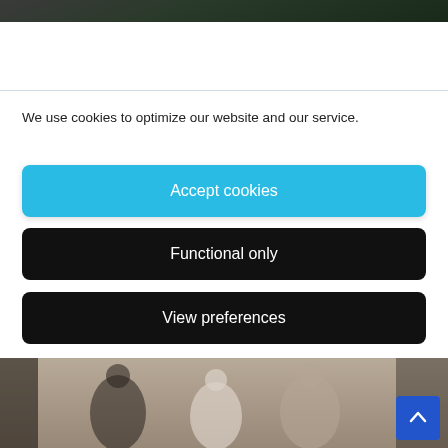[Figure (photo): Partial photograph of people/athletes visible at top strip, cropped]
We use cookies to optimize our website and our service.
Accept cookies
Functional only
View preferences
[Figure (photo): Black and white / sepia toned photograph of multiple people, appears to show athletes or people in motion]